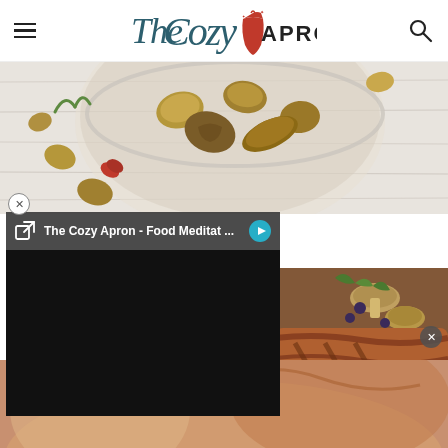The Cozy Apron
[Figure (photo): Bowl of mixed nuts with hazelnuts and other nuts on a white wooden surface with herbs]
[Figure (screenshot): Video player overlay with title 'The Cozy Apron - Food Meditat ...' on dark background with external link icon and play button, black video frame below]
[Figure (photo): Close-up of cooked meat dish with mushrooms and green herbs garnish]
[Figure (photo): Close-up food photo, lower portion of page, warm tones]